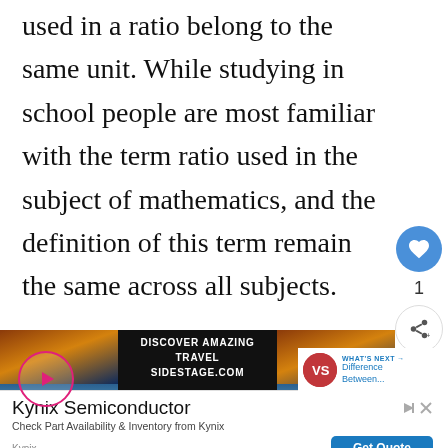used in a ratio belong to the same unit. While studying in school people are most familiar with the term ratio used in the subject of mathematics, and the definition of this term remain the same across all subjects.
[Figure (screenshot): Travel advertisement banner showing 'DISCOVER AMAZING TRAVEL SIDESTAGE.COM' with Alaska landscape images in two rows, a pink play button on the left, and a 'WHAT'S NEXT' panel on the right showing 'Difference Between...']
[Figure (screenshot): Kynix Semiconductor advertisement with title 'Kynix Semiconductor', subtext 'Check Part Availability & Inventory from Kynix', brand 'Kynix', and 'Get Quote' blue button]